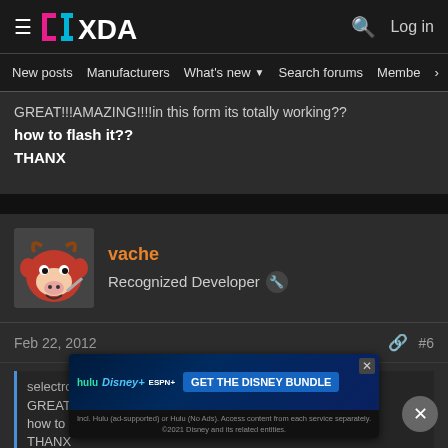XDA Developers - Log in
New posts  Manufacturers  What's new  Search forums  Membe
GREAT!!!AMAZING!!!!in this form its totally working??
how to flash it??
THANX
vache
Recognized Developer
Feb 22, 2012
selectro said:
GREAT!!!AMAZING!!!!in this form its totally working??
how to flash it??
THANX
[Figure (screenshot): Disney Bundle advertisement banner with Hulu, Disney+ and ESPN+ logos and GET THE DISNEY BUNDLE call to action]